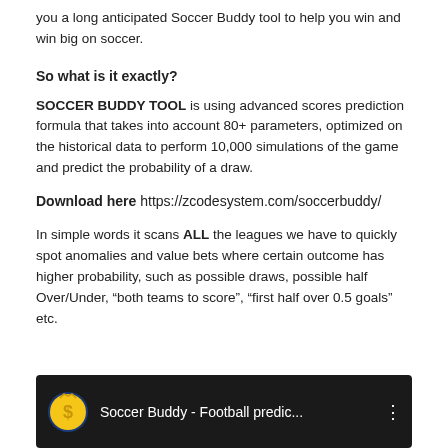you a long anticipated Soccer Buddy tool to help you win and win big on soccer.
So what is it exactly?
SOCCER BUDDY TOOL is using advanced scores prediction formula that takes into account 80+ parameters, optimized on the historical data to perform 10,000 simulations of the game and predict the probability of a draw.
Download here https://zcodesystem.com/soccerbuddy/
In simple words it scans ALL the leagues we have to quickly spot anomalies and value bets where certain outcome has higher probability, such as possible draws, possible half Over/Under, “both teams to score”, “first half over 0.5 goals” etc.
[Figure (screenshot): Video thumbnail for Soccer Buddy - Football predic... with a dollar sign coin logo and a YouTube-style player interface showing soccer/football imagery]